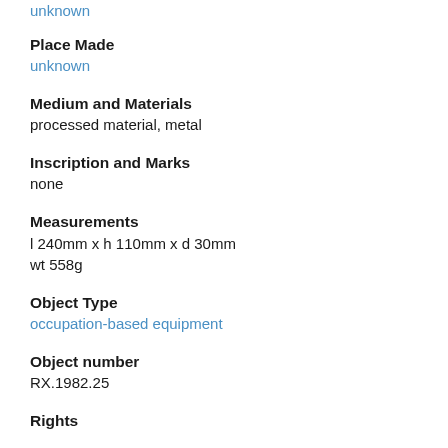unknown
Place Made
unknown
Medium and Materials
processed material, metal
Inscription and Marks
none
Measurements
l 240mm x h 110mm x d 30mm
wt 558g
Object Type
occupation-based equipment
Object number
RX.1982.25
Rights